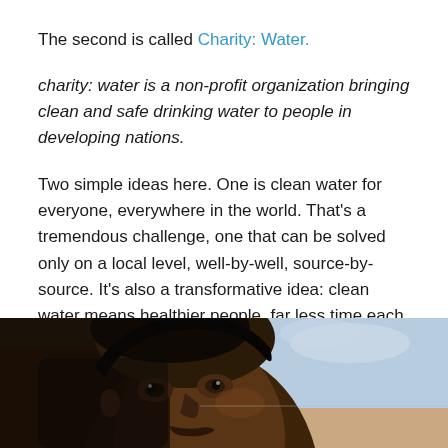The second is called Charity: Water.
charity: water is a non-profit organization bringing clean and safe drinking water to people in developing nations.
Two simple ideas here. One is clean water for everyone, everywhere in the world. That's a tremendous challenge, one that can be solved only on a local level, well-by-well, source-by-source. It's also a transformative idea: clean water means healthier people, far less time each day caring for the ill; empowerment of women (who, in many places in the world, expend an enormous amount of time at the well or other source, and carrying water home).
[Figure (photo): Close-up portrait of a young person with dark skin, looking upward, with a light blue sky in the background. The photo is cropped showing mostly the face and top of head.]